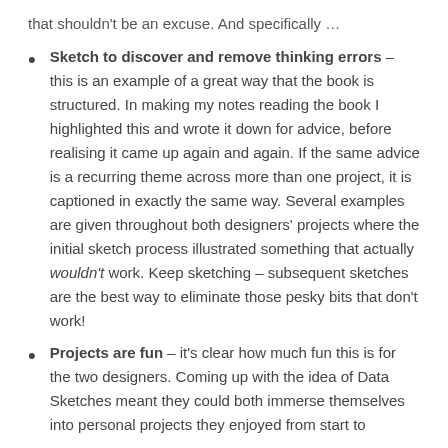that shouldn't be an excuse. And specifically …
Sketch to discover and remove thinking errors – this is an example of a great way that the book is structured. In making my notes reading the book I highlighted this and wrote it down for advice, before realising it came up again and again. If the same advice is a recurring theme across more than one project, it is captioned in exactly the same way. Several examples are given throughout both designers' projects where the initial sketch process illustrated something that actually wouldn't work. Keep sketching – subsequent sketches are the best way to eliminate those pesky bits that don't work!
Projects are fun – it's clear how much fun this is for the two designers. Coming up with the idea of Data Sketches meant they could both immerse themselves into personal projects they enjoyed from start to